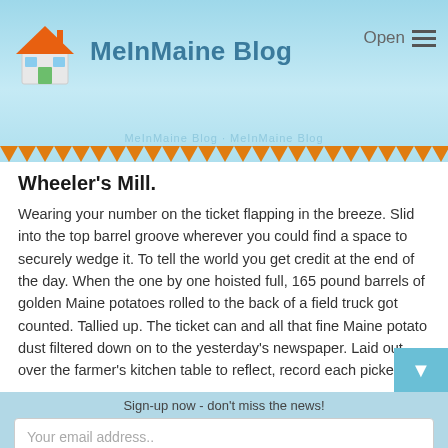MeInMaine Blog
Wheeler's Mill.
Wearing your number on the ticket flapping in the breeze. Slid into the top barrel groove wherever you could find a space to securely wedge it. To tell the world you get credit at the end of the day. When the one by one hoisted full, 165 pound barrels of golden Maine potatoes rolled to the back of a field truck got counted. Tallied up. The ticket can and all that fine Maine potato dust filtered down on to the yesterday's newspaper. Laid out over the farmer's kitchen table to reflect, record each pickers
Sign-up now - don't miss the news!
Your email address..
SUBSCRIBE